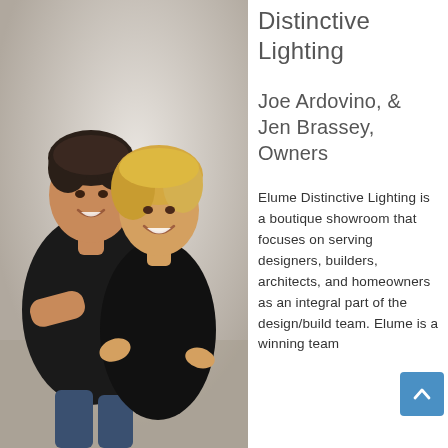[Figure (photo): Professional photo of two people, a man in black t-shirt and a woman in black blouse, standing back-to-back and smiling, against a light grey/white studio background.]
Elume Distinctive Lighting
Joe Ardovino, & Jen Brassey, Owners
Elume Distinctive Lighting is a boutique showroom that focuses on serving designers, builders, architects, and homeowners as an integral part of the design/build team. Elume is a winning team